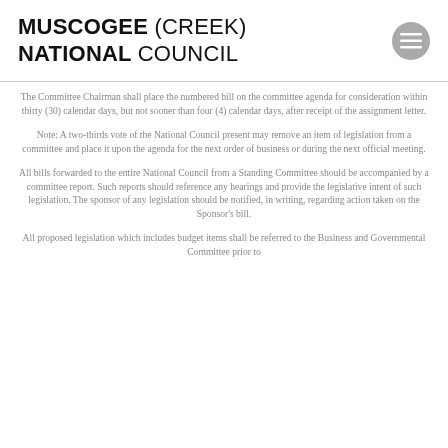MUSCOGEE (CREEK) NATIONAL COUNCIL
The Committee Chairman shall place the numbered bill on the committee agenda for consideration within thirty (30) calendar days, but not sooner than four (4) calendar days, after receipt of the assignment letter.
Note: A two-thirds vote of the National Council present may remove an item of legislation from a committee and place it upon the agenda for the next order of business or during the next official meeting.
All bills forwarded to the entire National Council from a Standing Committee should be accompanied by a committee report. Such reports should reference any hearings and provide the legislative intent of such legislation. The sponsor of any legislation should be notified, in writing, regarding action taken on the Sponsor’s bill.
All proposed legislation which includes budget items shall be referred to the Business and Governmental Committee prior to